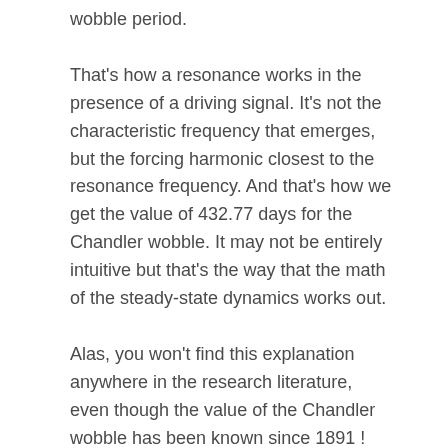wobble period.
That's how a resonance works in the presence of a driving signal. It's not the characteristic frequency that emerges, but the forcing harmonic closest to the resonance frequency. And that's how we get the value of 432.77 days for the Chandler wobble. It may not be entirely intuitive but that's the way that the math of the steady-state dynamics works out.
Alas, you won't find this explanation anywhere in the research literature, even though the value of the Chandler wobble has been known since 1891 ! Like the recent finding that the moon is proving a significant gravitational forcing in triggering earthquakes, the same could be asserted for the moon's direct influence on the Chandler wobble. Perhaps, it has taken this long